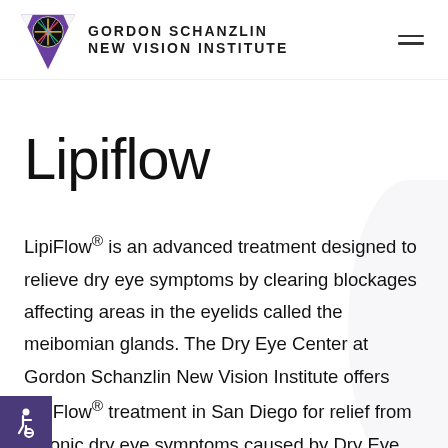GORDON SCHANZLIN NEW VISION INSTITUTE
Lipiflow
LipiFlow® is an advanced treatment designed to relieve dry eye symptoms by clearing blockages affecting areas in the eyelids called the meibomian glands. The Dry Eye Center at Gordon Schanzlin New Vision Institute offers LipiFlow® treatment in San Diego for relief from chronic dry eye symptoms caused by Dry Eye Syndrome and Meibomian Gland Dysfunction.